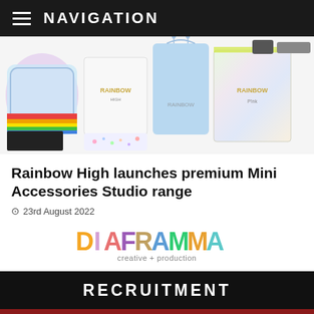NAVIGATION
[Figure (photo): Product photo showing Rainbow High Mini Accessories Studio items including bags, pouches, boxes, and accessories on a white background]
Rainbow High launches premium Mini Accessories Studio range
23rd August 2022
[Figure (logo): Diaframma creative + production logo in colorful letters]
RECRUITMENT
[Figure (photo): Blue rectangle partially visible at bottom of page with red border background]